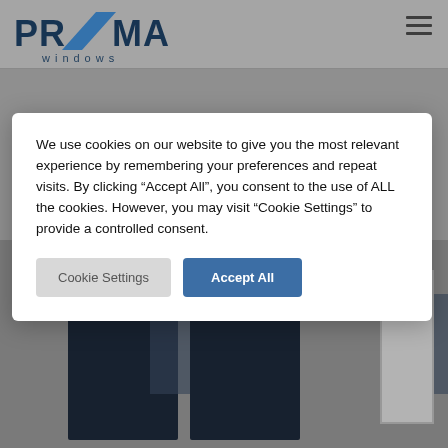[Figure (logo): Prizma Windows logo with blue angular Z letterform and 'windows' text below]
[Figure (photo): Double dark navy entry doors with glass panels and a side sidelite window, set in a grey exterior wall]
We use cookies on our website to give you the most relevant experience by remembering your preferences and repeat visits. By clicking “Accept All”, you consent to the use of ALL the cookies. However, you may visit “Cookie Settings” to provide a controlled consent.
Cookie Settings
Accept All